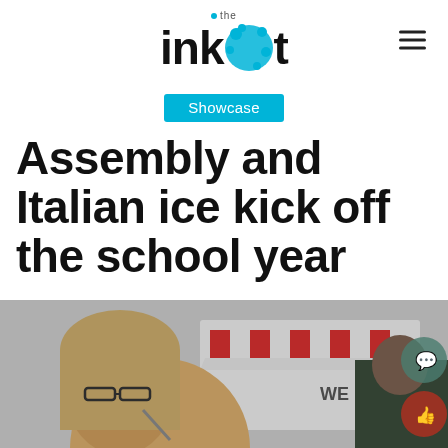the inkblot
Showcase
Assembly and Italian ice kick off the school year
[Figure (photo): Students at an Italian ice food truck outside, a girl with glasses eating Italian ice in the foreground, other students visible in background near a red-and-white striped awning truck]